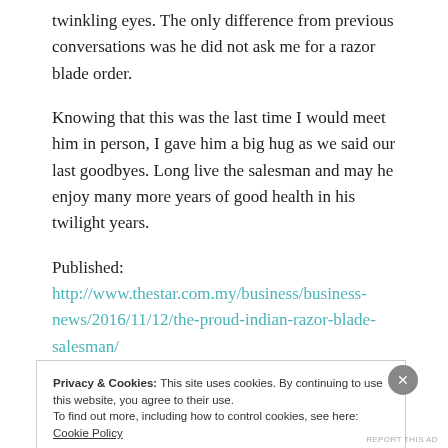twinkling eyes. The only difference from previous conversations was he did not ask me for a razor blade order.
Knowing that this was the last time I would meet him in person, I gave him a big hug as we said our last goodbyes. Long live the salesman and may he enjoy many more years of good health in his twilight years.
Published: http://www.thestar.com.my/business/business-news/2016/11/12/the-proud-indian-razor-blade-salesman/
Privacy & Cookies: This site uses cookies. By continuing to use this website, you agree to their use. To find out more, including how to control cookies, see here: Cookie Policy
Close and accept
REPORT THIS AD